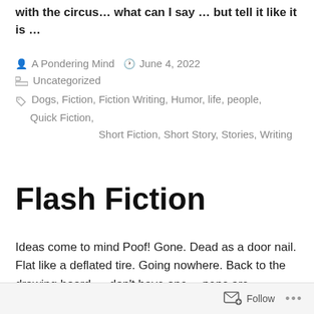with the circus… what can I say … but tell it like it is …
By A Pondering Mind   June 4, 2022
Uncategorized
Dogs, Fiction, Fiction Writing, Humor, life, people, Quick Fiction, Short Fiction, Short Story, Stories, Writing
Flash Fiction
Ideas come to mind Poof! Gone. Dead as a door nail. Flat like a deflated tire. Going nowhere. Back to the drawing board.… don't have one… pens are
Follow